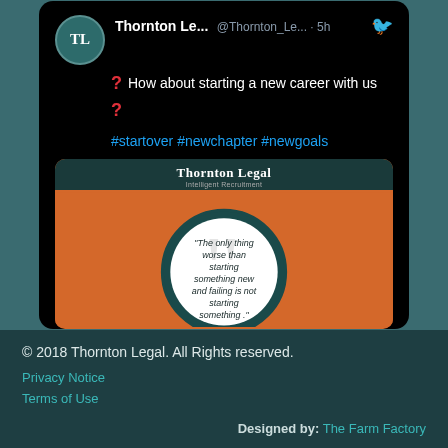[Figure (screenshot): A Twitter/X post by @Thornton_Le... (Thornton Legal) posted 5 hours ago, showing a question mark, text 'How about starting a new career with us ?', hashtags #startover #newchapter #newgoals, and an embedded promotional image with a quote on an orange background.]
© 2018 Thornton Legal. All Rights reserved.
Privacy Notice
Terms of Use
Designed by: The Farm Factory